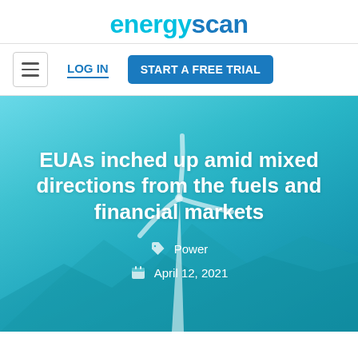[Figure (logo): EnergyScan logo with 'energy' in light blue and 'scan' in dark blue]
LOG IN
START A FREE TRIAL
[Figure (photo): Wind turbine on a teal/blue gradient background with mountains in the distance]
EUAs inched up amid mixed directions from the fuels and financial markets
Power
April 12, 2021